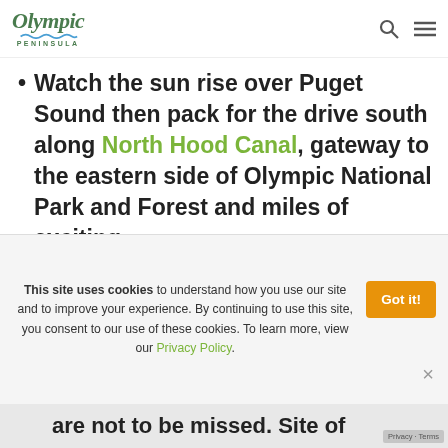[Figure (logo): Olympic Peninsula logo with stylized cursive text 'Olympic' in green, a wavy line beneath, and 'PENINSULA' in small caps below]
Watch the sun rise over Puget Sound then pack for the drive south along North Hood Canal, gateway to the eastern side of Olympic National Park and Forest and miles of exciting
This site uses cookies to understand how you use our site and to improve your experience. By continuing to use this site, you consent to our use of these cookies. To learn more, view our Privacy Policy.
are not to be missed. Site of